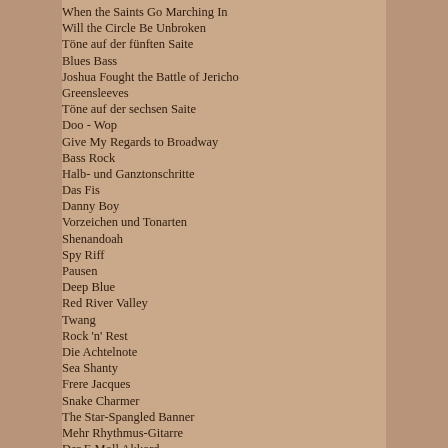When the Saints Go Marching In
Will the Circle Be Unbroken
Töne auf der fünften Saite
Blues Bass
Joshua Fought the Battle of Jericho
Greensleeves
Töne auf der sechsen Saite
Doo - Wop
Give My Regards to Broadway
Bass Rock
Halb- und Ganztonschritte
Das Fis
Danny Boy
Vorzeichen und Tonarten
Shenandoah
Spy Riff
Pausen
Deep Blue
Red River Valley
Twang
Rock 'n' Rest
Die Achtelnote
Sea Shanty
Frere Jacques
Snake Charmer
The Star-Spangled Banner
Mehr Rhythmus-Gitarre
Der E Moll Akkord